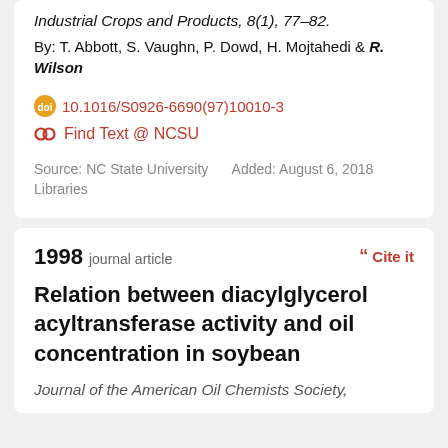Industrial Crops and Products, 8(1), 77–82.
By: T. Abbott, S. Vaughn, P. Dowd, H. Mojtahedi & R. Wilson
10.1016/S0926-6690(97)10010-3
Find Text @ NCSU
Source: NC State University Libraries
Added: August 6, 2018
1998 journal article
Cite it
Relation between diacylglycerol acyltransferase activity and oil concentration in soybean
Journal of the American Oil Chemists Society,